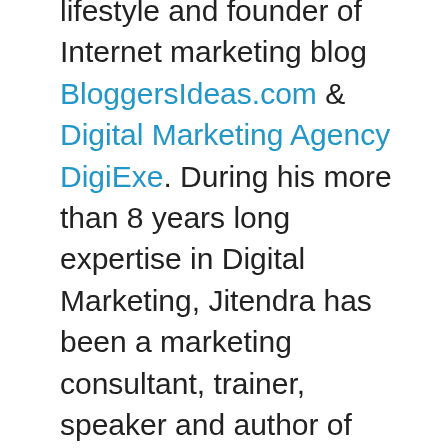lifestyle and founder of Internet marketing blog BloggersIdeas.com & Digital Marketing Agency DigiExe. During his more than 8 years long expertise in Digital Marketing, Jitendra has been a marketing consultant, trainer, speaker and author of “Inside A Hustler’s Brain : In Pursuit of Financial Freedom” which has sold over 20,000 copies, worldwide & contributor of “International Best Selling Author of Growth Hacking Book 2”. He had trained 10000+ digital marketing professionals till date and has been conducting Digital marketing workshops across the globe. His ultimate